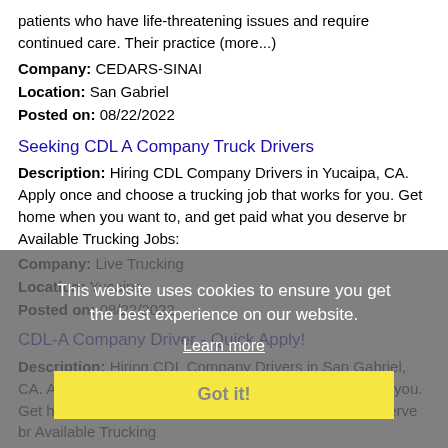patients who have life-threatening issues and require continued care. Their practice (more...)
Company: CEDARS-SINAI
Location: San Gabriel
Posted on: 08/22/2022
Seeking CDL A Company Truck Drivers
Description: Hiring CDL Company Drivers in Yucaipa, CA. Apply once and choose a trucking job that works for you. Get home when you want to, and get paid what you deserve br Available Trucking Jobs:
Company: Live Trucking
Location: Yucaipa
Posted on: 08/22/2022
CDL-A Company Driver - Quick Apply!
Description: Hiring CDL Company Drivers in San Gabriel, CA. Apply once and choose a trucking job that works for you. Get home when you want to, and get paid what you deserve br Available Trucking
Company: Live Trucking
Location: San Gabriel
Posted on: 08/22/2022